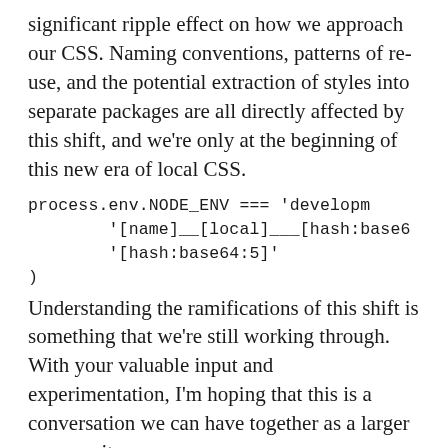significant ripple effect on how we approach our CSS. Naming conventions, patterns of re-use, and the potential extraction of styles into separate packages are all directly affected by this shift, and we're only at the beginning of this new era of local CSS.
Understanding the ramifications of this shift is something that we're still working through. With your valuable input and experimentation, I'm hoping that this is a conversation we can have together as a larger community.
Note: Automatically optimising style re-use between components would